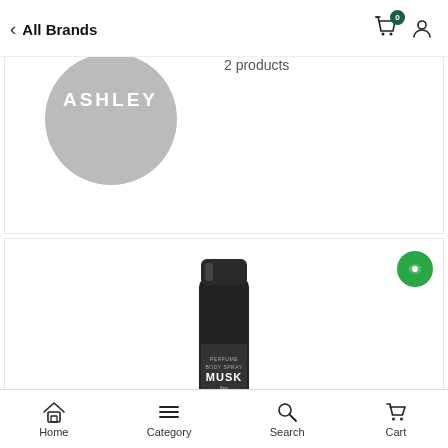All Brands
2 products
[Figure (logo): Ashley brand logo — grey circle with white ASHLEY text]
[Figure (photo): Dark/black perfume body spray can labeled MUSK by LILIAN]
Home  Category  Search  Cart